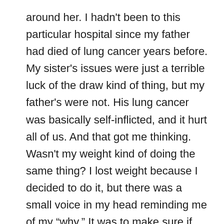around her. I hadn't been to this particular hospital since my father had died of lung cancer years before. My sister's issues were just a terrible luck of the draw kind of thing, but my father's were not. His lung cancer was basically self-inflicted, and it hurt all of us. And that got me thinking. Wasn't my weight kind of doing the same thing? I lost weight because I decided to do it, but there was a small voice in my head reminding me of my “why.” It was to make sure if something happened to me, it wasn't of my own making. It also was about being around to play and romp with my awesome nieces, something that was getting harder and harder to do.